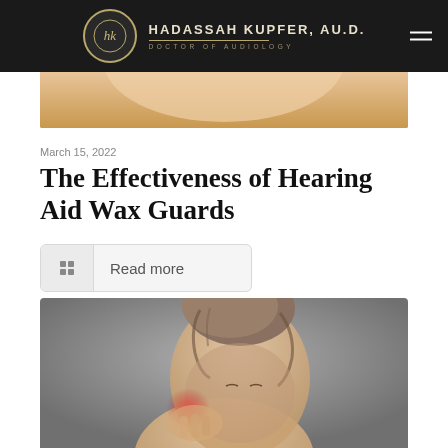HADASSAH KUPFER, AU.D. — DOCTOR OF AUDIOLOGY
[Figure (photo): Partial top image strip showing skin/person, cropped]
March 15, 2022
The Effectiveness of Hearing Aid Wax Guards
Read more
[Figure (photo): A woman with braided updo hair, tilting head, touching her ear with expression of pain, red highlight on ear area, gray background]